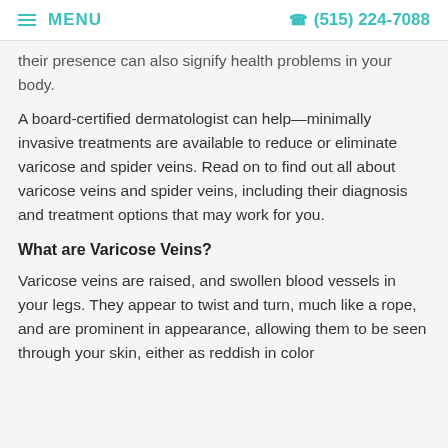MENU  (515) 224-7088
their presence can also signify health problems in your body.
A board-certified dermatologist can help—minimally invasive treatments are available to reduce or eliminate varicose and spider veins. Read on to find out all about varicose veins and spider veins, including their diagnosis and treatment options that may work for you.
What are Varicose Veins?
Varicose veins are raised, and swollen blood vessels in your legs. They appear to twist and turn, much like a rope, and are prominent in appearance, allowing them to be seen through your skin, either as reddish in color